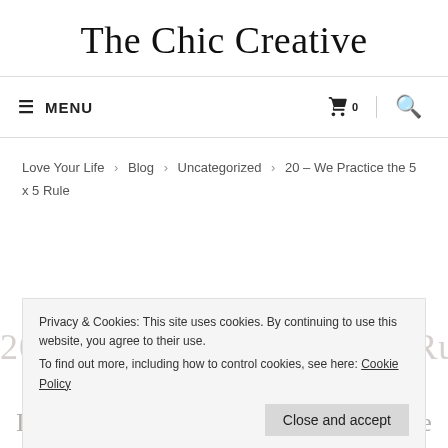The Chic Creative
≡ MENU | 🛒 0 | 🔍
Love Your Life > Blog > Uncategorized > 20 – We Practice the 5 x 5 Rule
Privacy & Cookies: This site uses cookies. By continuing to use this website, you agree to their use. To find out more, including how to control cookies, see here: Cookie Policy
20 – We Practice the 5 x 5 Rule
Updated on September 9, 2020  ©  2 Comments
In Week 20 of our 52 Weeks of Chic we